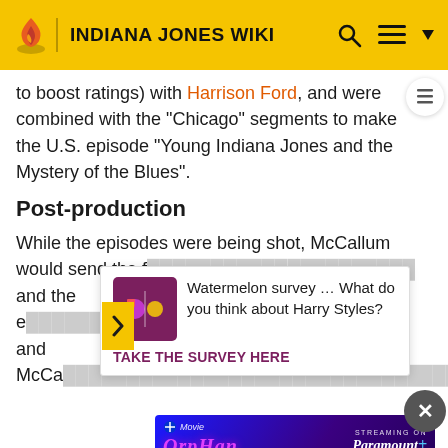INDIANA JONES WIKI
to boost ratings) with Harrison Ford, and were combined with the "Chicago" segments to make the U.S. episode "Young Indiana Jones and the Mystery of the Blues".
Post-production
While the episodes were being shot, McCallum would send the f... and the ec... McCa... "Fo-
[Figure (screenshot): Advertisement popup: Watermelon survey asking 'What do you think about Harry Styles?' with a CTA 'TAKE THE SURVEY HERE']
George, it was like mail-order filmmaking. He loves to come u... [29]
[Figure (screenshot): Orphan: First Kill movie advertisement - Streaming on Paramount+, Try It Free]
The ser... se of digital f... d in digital effects for Lucasfilm.[2] The show also provide...